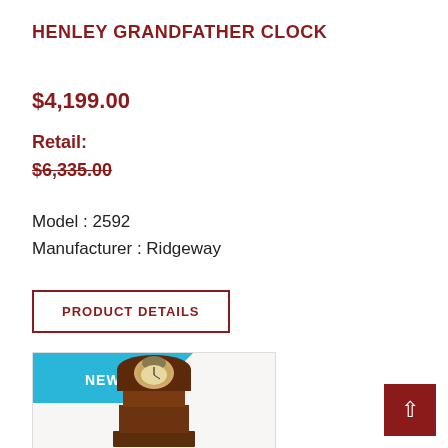HENLEY GRANDFATHER CLOCK
$4,199.00
Retail:
$6,335.00
Model : 2592
Manufacturer : Ridgeway
PRODUCT DETAILS
[Figure (photo): Grandfather clock product image with a 'NEW' badge in the top-left corner. Tall wooden clock with dark cherry finish.]